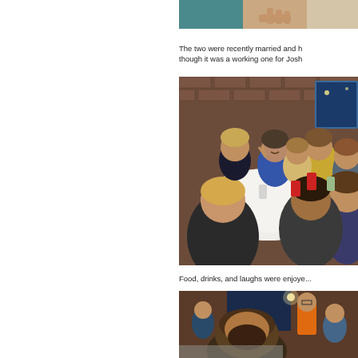[Figure (photo): Top cropped photo showing partial view of people, teal shirt visible, close-up from top]
The two were recently married and h... though it was a working one for Josh...
[Figure (photo): Group of people sitting around a white round table at a restaurant with brick walls, smiling and posing, red and green drinks on table]
Food, drinks, and laughs were enjoye...
[Figure (photo): Restaurant scene with people at tables, man in orange shirt standing, another person in foreground]